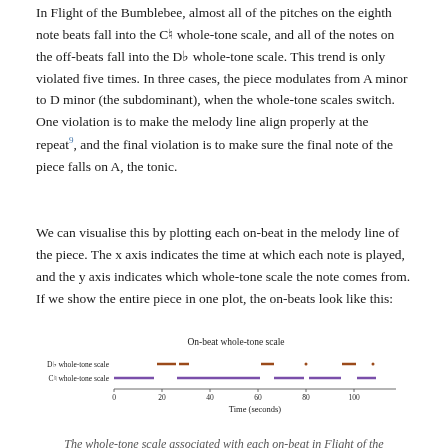In Flight of the Bumblebee, almost all of the pitches on the eighth note beats fall into the C♮ whole-tone scale, and all of the notes on the off-beats fall into the D♭ whole-tone scale. This trend is only violated five times. In three cases, the piece modulates from A minor to D minor (the subdominant), when the whole-tone scales switch. One violation is to make the melody line align properly at the repeat⁹, and the final violation is to make sure the final note of the piece falls on A, the tonic.
We can visualise this by plotting each on-beat in the melody line of the piece. The x axis indicates the time at which each note is played, and the y axis indicates which whole-tone scale the note comes from. If we show the entire piece in one plot, the on-beats look like this:
[Figure (scatter-plot): Scatter/segment plot showing on-beat notes colored by whole-tone scale (Db whole-tone scale in brown/orange, C♮ whole-tone scale in purple) over time from 0 to ~110 seconds.]
The whole-tone scale associated with each on-beat in Flight of the